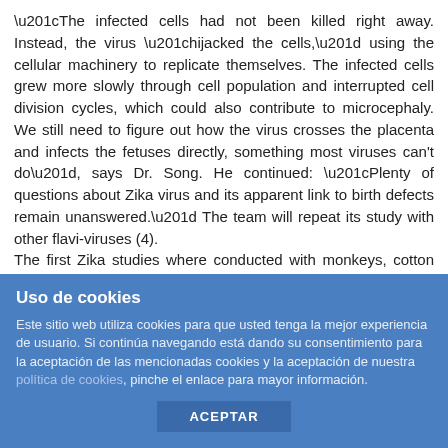“The infected cells had not been killed right away. Instead, the virus “hijacked the cells,” using the cellular machinery to replicate themselves. The infected cells grew more slowly through cell population and interrupted cell division cycles, which could also contribute to microcephaly. We still need to figure out how the virus crosses the placenta and infects the fetuses directly, something most viruses can't do”, says Dr. Song. He continued: “Plenty of questions about Zika virus and its apparent link to birth defects remain unanswered.” The team will repeat its study with other flavi-viruses (4).
The first Zika studies where conducted with monkeys, cotton rats, mice, guinea pigs and rabbits. The recently diseased First Lady Nancy Reagan was in favor of human embryonic stem cell research. We might remember Nancy’s words in 2004. It was before the President’s death when she said: “Ronnie’s long journey has finally taken him to a distant place where I can no longer reach him. Because of this, I’m determined to do whatever
Uso de cookies
Este sitio web utiliza cookies para que usted tenga la mejor experiencia de usuario. Si continúa navegando está dando su consentimiento para la aceptación de las mencionadas cookies y la aceptación de nuestra política de cookies, pinche el enlace para mayor información.